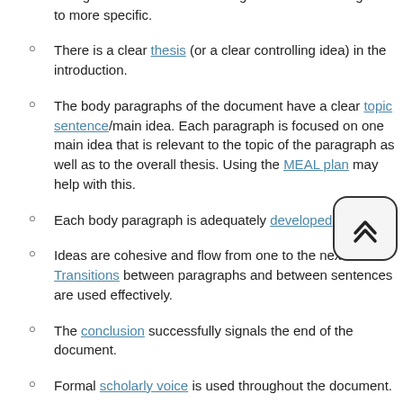The Introduction gives adequate and appropriate background information. It is organized from more general to more specific.
There is a clear thesis (or a clear controlling idea) in the introduction.
The body paragraphs of the document have a clear topic sentence/main idea. Each paragraph is focused on one main idea that is relevant to the topic of the paragraph as well as to the overall thesis. Using the MEAL plan may help with this.
Each body paragraph is adequately developed.
Ideas are cohesive and flow from one to the next. Transitions between paragraphs and between sentences are used effectively.
The conclusion successfully signals the end of the document.
Formal scholarly voice is used throughout the document.